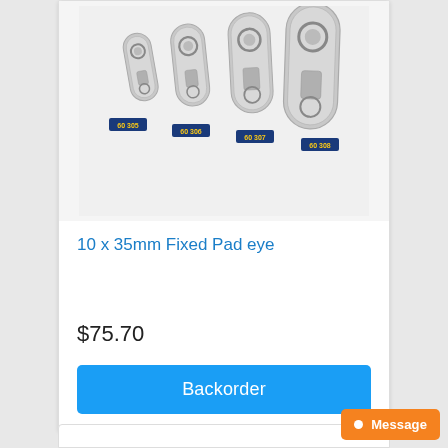[Figure (photo): Four stainless steel fixed pad eyes of increasing sizes, arranged from smallest (60 305) to largest (60 308), each labeled with a product code badge in dark blue with yellow text.]
10 x 35mm Fixed Pad eye
$75.70
Backorder
Message